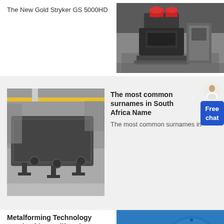The New Gold Stryker GS 5000HD
[Figure (photo): Industrial milling/grinding machine in a factory, dark grey metal machinery with red accents]
[Figure (photo): Heavy steel vibrating screen or sieve equipment in a factory setting]
The most common surnames in South Africa Name
The most common surnames in
Metalforming Technology South Africa Rollforming
At Metalforming Technology South
[Figure (photo): Blue ball mill industrial equipment with orange/red inlet, mounted on a frame]